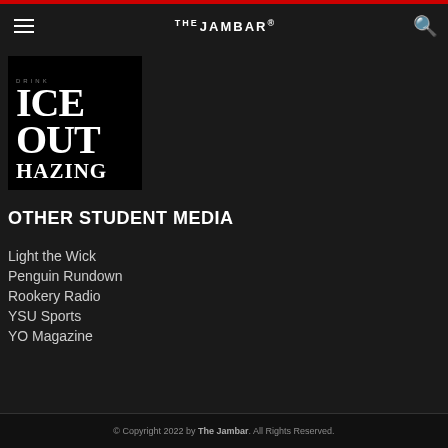THE JAMBAR
[Figure (illustration): Ice Out Hazing campaign logo: black and white image with bold serif text reading ICE OUT HAZING stacked vertically]
OTHER STUDENT MEDIA
Light the Wick
Penguin Rundown
Rookery Radio
YSU Sports
YO Magazine
© Copyright 2022 by The Jambar. All Rights Reserved.